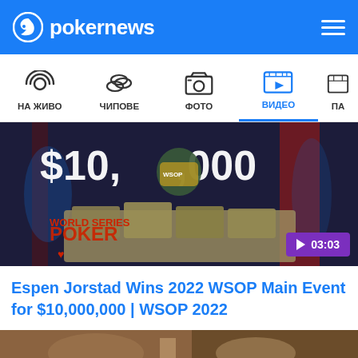pokernews
[Figure (screenshot): Navigation bar with icons: НА ЖИВО (live), ЧИПОВЕ (chips), ФОТО (photo), ВИДЕО (video, active/highlighted in blue), ПА... (partial)]
[Figure (photo): Video thumbnail: Espen Jorstad holding WSOP bracelet in front of $10,000,000 in cash, World Series of Poker backdrop, play button badge showing 03:03]
Espen Jorstad Wins 2022 WSOP Main Event for $10,000,000 | WSOP 2022
[Figure (photo): Partial second video thumbnail visible at bottom of page]